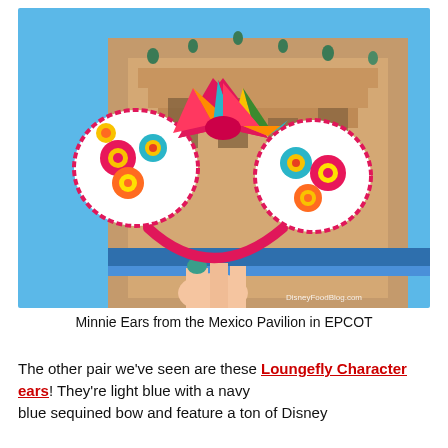[Figure (photo): A person holds up a pair of colorful Minnie Mouse ears headband featuring a white background with bright floral embroidery in pink, red, teal, yellow, and orange, with a multicolored striped satin bow on top, outlined in pink stitching. The background shows the Mexico Pavilion building at EPCOT under a clear blue sky. A watermark reads 'DisneyFoodBlog.com'.]
Minnie Ears from the Mexico Pavilion in EPCOT
The other pair we've seen are these Loungefly Character ears! They're light blue with a navy blue sequined bow and feature a ton of Disn...